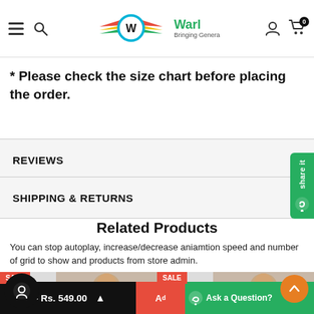Warl – Bringing Generations Together
* Please check the size chart before placing the order.
REVIEWS
SHIPPING & RETURNS
Related Products
You can stop autoplay, increase/decrease aniamtion speed and number of grid to show and products from store admin.
[Figure (photo): Two product thumbnails showing children's clothing items on sale, each tagged with a SALE badge.]
5Yrs – Rs. 549.00   Add   Ask a Question?